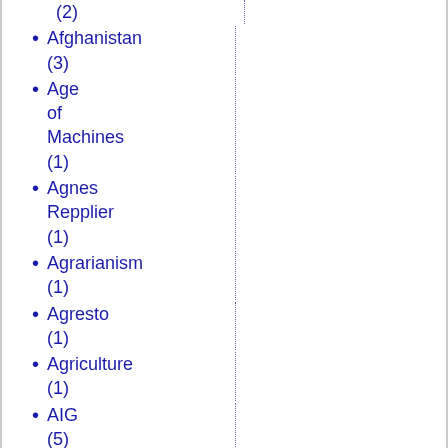(2)
Afghanistan (3)
Age of Machines (1)
Agnes Repplier (1)
Agrarianism (1)
Agresto (1)
Agriculture (1)
AIG (5)
Alan Blinder (1)
Alan Jacobs (1)
alcohol (1)